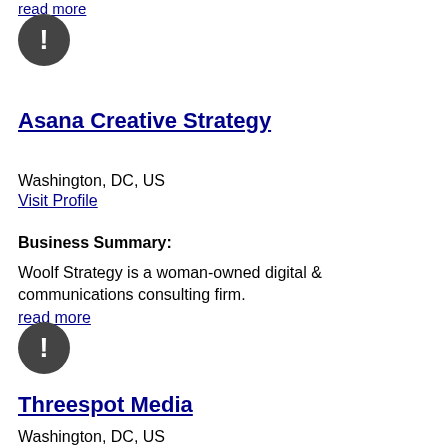read more
[Figure (illustration): Dark grey circle with white exclamation mark icon]
Asana Creative Strategy
Washington, DC, US
Visit Profile
Business Summary:
Woolf Strategy is a woman-owned digital & communications consulting firm.
read more
[Figure (illustration): Dark grey circle with white exclamation mark icon]
Threespot Media
Washington, DC, US
Visit Profile